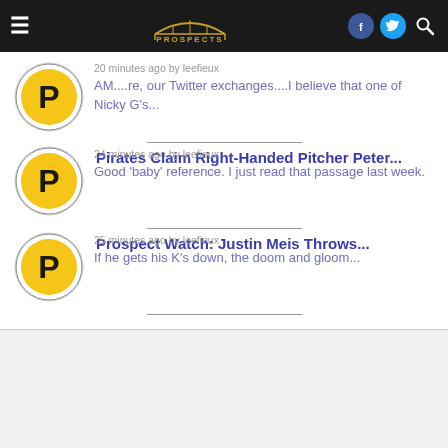Pirates Prospects navigation bar
20 minutes ago by leefieux
AM....re, our Twitter exchanges....I believe that one of Nicky G's...
Pirates Claim Right-Handed Pitcher Peter...
24 minutes ago by leefieux
Good 'baby' reference. I just read that passage last week.
Prospect Watch: Justin Meis Throws...
25 minutes ago by leefieux
If he gets his K's down, the doom and gloom...